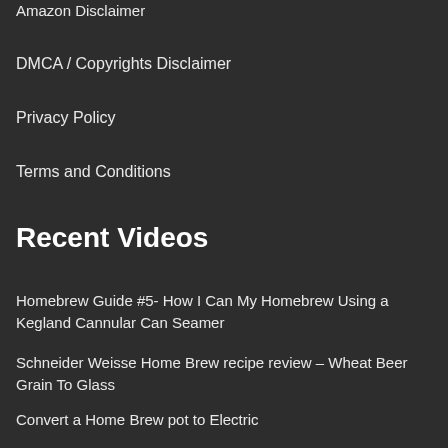Amazon Disclaimer
DMCA / Copyrights Disclaimer
Privacy Policy
Terms and Conditions
Recent Videos
Homebrew Guide #5- How I Can My Homebrew Using a Kegland Cannular Can Seamer
Schneider Weisse Home Brew recipe review – Wheat Beer Grain To Glass
Convert a Home Brew pot to Electric
D&D 5e Homebrew Guide: Fallout New Vegas
Homebrew Recipe: Cucumber Kölsch Style Beer